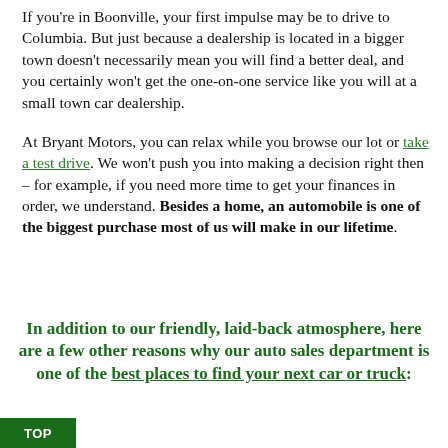If you're in Boonville, your first impulse may be to drive to Columbia. But just because a dealership is located in a bigger town doesn't necessarily mean you will find a better deal, and you certainly won't get the one-on-one service like you will at a small town car dealership.
At Bryant Motors, you can relax while you browse our lot or take a test drive. We won't push you into making a decision right then – for example, if you need more time to get your finances in order, we understand. Besides a home, an automobile is one of the biggest purchase most of us will make in our lifetime.
In addition to our friendly, laid-back atmosphere, here are a few other reasons why our auto sales department is one of the best places to find your next car or truck: